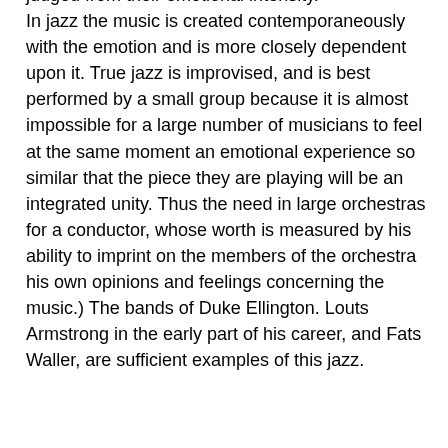judged from their emotional intensity. In jazz the music is created contemporaneously with the emotion and is more closely dependent upon it. True jazz is improvised, and is best performed by a small group because it is almost impossible for a large number of musicians to feel at the same moment an emotional experience so similar that the piece they are playing will be an integrated unity. Thus the need in large orchestras for a conductor, whose worth is measured by his ability to imprint on the members of the orchestra his own opinions and feelings concerning the music.) The bands of Duke Ellington. Louts Armstrong in the early part of his career, and Fats Waller, are sufficient examples of this jazz.